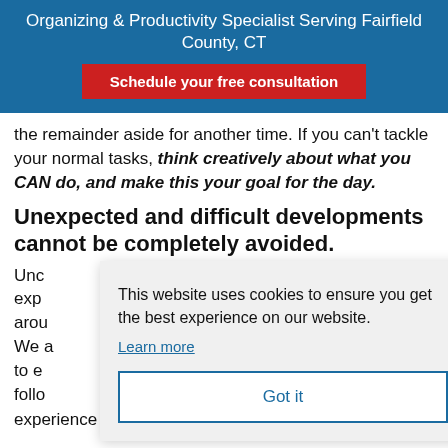Organizing & Productivity Specialist Serving Fairfield County, CT
Schedule your free consultation
the remainder aside for another time. If you can't tackle your normal tasks, think creatively about what you CAN do, and make this your goal for the day.
Unexpected and difficult developments cannot be completely avoided.
This website uses cookies to ensure you get the best experience on our website.
Learn more
Got it
Unexpected and difficult developments... We ... to e... follo... experience to help us anticipate what will happen next